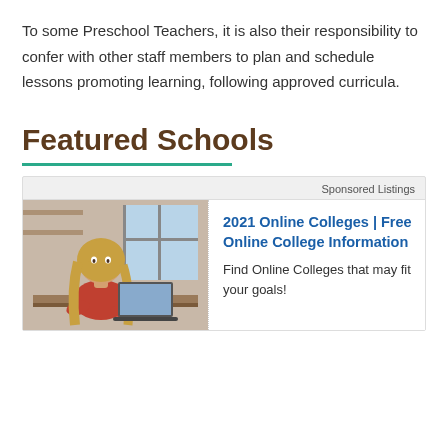To some Preschool Teachers, it is also their responsibility to confer with other staff members to plan and schedule lessons promoting learning, following approved curricula.
Featured Schools
Sponsored Listings
[Figure (photo): A woman with long hair sitting at a desk in an office/study environment.]
2021 Online Colleges | Free Online College Information
Find Online Colleges that may fit your goals!